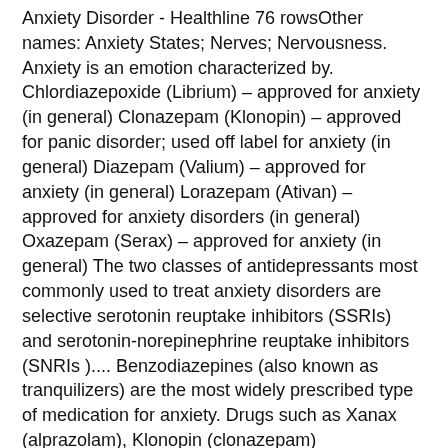Anxiety Disorder - Healthline 76 rowsOther names: Anxiety States; Nerves; Nervousness. Anxiety is an emotion characterized by. Chlordiazepoxide (Librium) – approved for anxiety (in general) Clonazepam (Klonopin) – approved for panic disorder; used off label for anxiety (in general) Diazepam (Valium) – approved for anxiety (in general) Lorazepam (Ativan) – approved for anxiety disorders (in general) Oxazepam (Serax) – approved for anxiety (in general) The two classes of antidepressants most commonly used to treat anxiety disorders are selective serotonin reuptake inhibitors (SSRIs) and serotonin-norepinephrine reuptake inhibitors (SNRIs ).... Benzodiazepines (also known as tranquilizers) are the most widely prescribed type of medication for anxiety. Drugs such as Xanax (alprazolam), Klonopin (clonazepam)